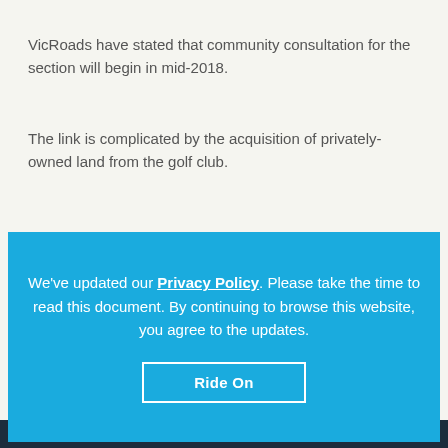VicRoads have stated that community consultation for the section will begin in mid-2018.
The link is complicated by the acquisition of privately-owned land from the golf club.
We've updated our Privacy Policy. Please take the time to read this document. By continuing to browse this website, you agree to the updates.
Ride On